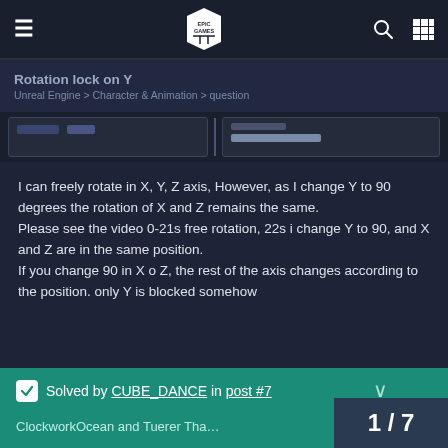Epic Games — navigation bar with hamburger menu, Epic Games logo, search icon, grid icon
Rotation lock on Y
Unreal Engine > Character & Animation > question
[Figure (screenshot): Two dark UI panel thumbnails side by side]
I can freely rotate in X, Y, Z axis, However, as I change Y to 90 degrees the rotation of X and Z remains the same.
Please see the video 0-21s free rotation, 22s i change Y to 90, and X and Z are in the same position.
If you change 90 in X o Z, the rest of the axis changes according to the position. only Y is blocked somehow
Solved by CUBE_DANCE in post #7
ClockworkOcean and Tuerer Tha…
1 / 7